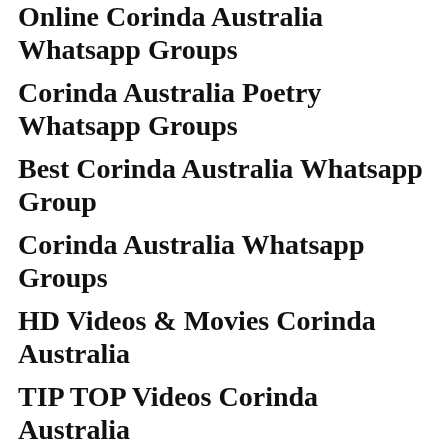Online Corinda Australia Whatsapp Groups
Corinda Australia Poetry Whatsapp Groups
Best Corinda Australia Whatsapp Group
Corinda Australia Whatsapp Groups
HD Videos & Movies Corinda Australia
TIP TOP Videos Corinda Australia
Corinda Australia Whatsapp Group links
Join Tips Corinda Australia Whatsapp Groups Links